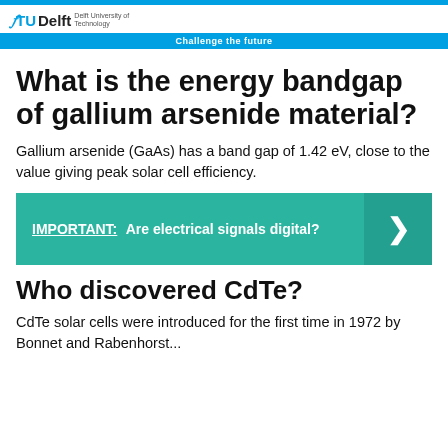TU Delft — Challenge the future
What is the energy bandgap of gallium arsenide material?
Gallium arsenide (GaAs) has a band gap of 1.42 eV, close to the value giving peak solar cell efficiency.
IMPORTANT: Are electrical signals digital?
Who discovered CdTe?
CdTe solar cells were introduced for the first time in 1972 by Bonnet and Rabenhorst...